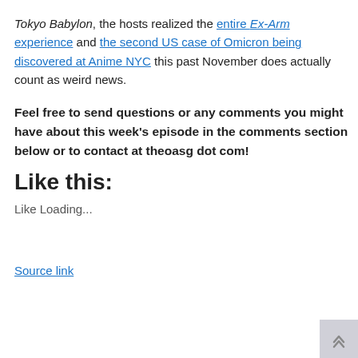Tokyo Babylon, the hosts realized the entire Ex-Arm experience and the second US case of Omicron being discovered at Anime NYC this past November does actually count as weird news.
Feel free to send questions or any comments you might have about this week's episode in the comments section below or to contact at theoasg dot com!
Like this:
Like Loading...
Source link